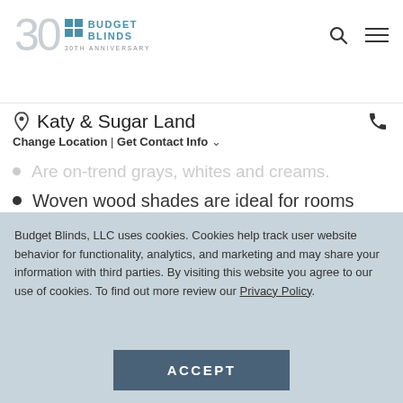Budget Blinds 30th Anniversary logo with search and menu icons
Katy & Sugar Land
Change Location | Get Contact Info
Are on-trend grays, whites and creams.
Woven wood shades are ideal for rooms furnished with rich woods, including wood flooring.
Are available in a wide range of colors and hues, including lighter tones to complement rooms with white, bright, or neutral furniture, and darker
Budget Blinds, LLC uses cookies. Cookies help track user website behavior for functionality, analytics, and marketing and may share your information with third parties. By visiting this website you agree to our use of cookies. To find out more review our Privacy Policy.